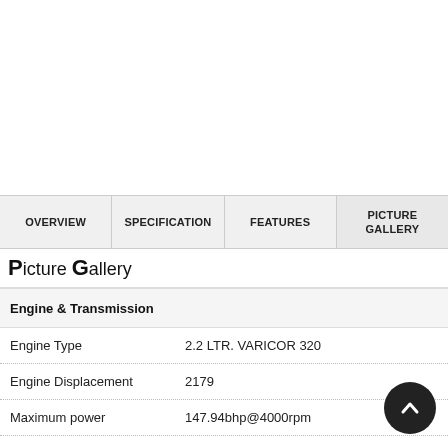OVERVIEW | SPECIFICATION | FEATURES | PICTURE GALLERY
Picture Gallery
Engine & Transmission
| Property | Value |
| --- | --- |
| Engine Type | 2.2 LTR. VARICOR 320 |
| Engine Displacement | 2179 |
| Maximum power | 147.94bhp@4000rpm |
| Maximum torque | 320Nm@1700-2700rpm |